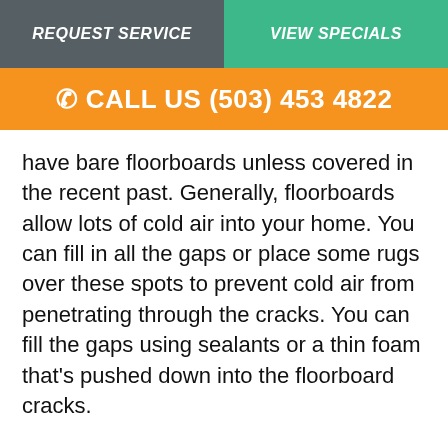REQUEST SERVICE
VIEW SPECIALS
📞 CALL US (503) 453 4822
have bare floorboards unless covered in the recent past. Generally, floorboards allow lots of cold air into your home. You can fill in all the gaps or place some rugs over these spots to prevent cold air from penetrating through the cracks. You can fill the gaps using sealants or a thin foam that's pushed down into the floorboard cracks.